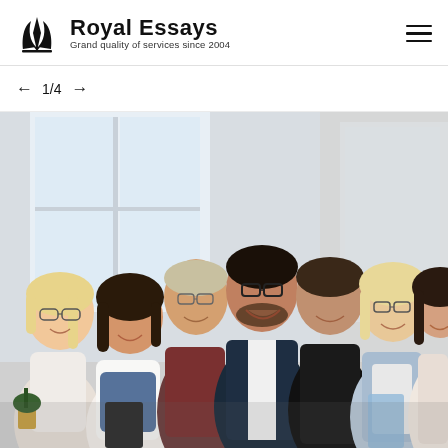Royal Essays — Grand quality of services since 2004
1/4
[Figure (photo): Group photo of seven smiling professionals (diverse ages and ethnicities) standing together in a bright office or meeting room with large windows]